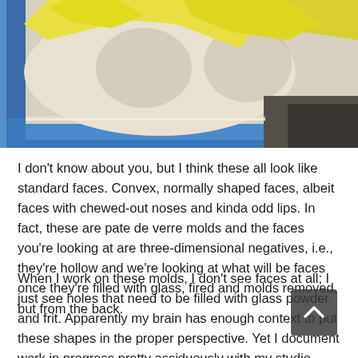[Figure (photo): Close-up photo of pate de verre molds in a blue tray. A yellow glove or material is visible at the top, and the mold surface is light-colored with a blue tray border.]
I don't know about you, but I think these all look like standard faces. Convex, normally shaped faces, albeit faces with chewed-out noses and kinda odd lips. In fact, these are pate de verre molds and the faces you're looking at are three-dimensional negatives, i.e., they're hollow and we're looking at what will be faces once they're filled with glass, fired and molds removed, but from the back.
When I work on these molds, I don't see faces at all; I just see holes that need to be filled with glass powder and frit. Apparently my brain has enough context to put these shapes in the proper perspective. Yet I document work in progress pretty assiduously with my studio digital camera